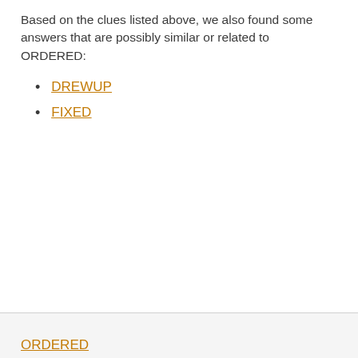Based on the clues listed above, we also found some answers that are possibly similar or related to ORDERED:
DREWUP
FIXED
ORDERED